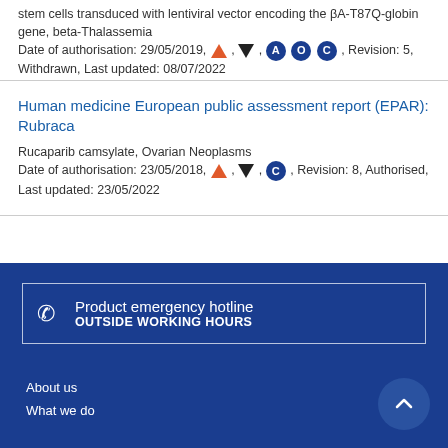stem cells transduced with lentiviral vector encoding the βA-T87Q-globin gene, beta-Thalassemia
Date of authorisation: 29/05/2019, [triangle], [down-triangle], [A], [O], [C], Revision: 5, Withdrawn, Last updated: 08/07/2022
Human medicine European public assessment report (EPAR): Rubraca
Rucaparib camsylate, Ovarian Neoplasms
Date of authorisation: 23/05/2018, [triangle], [down-triangle], [C], Revision: 8, Authorised, Last updated: 23/05/2022
Product emergency hotline
OUTSIDE WORKING HOURS
About us
What we do